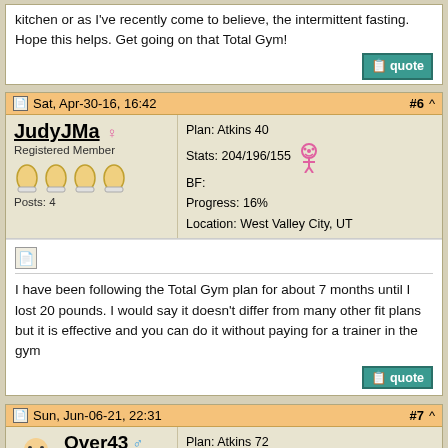kitchen or as I've recently come to believe, the intermittent fasting. Hope this helps. Get going on that Total Gym!
Sat, Apr-30-16, 16:42
#6
JudyJMa ♀
Registered Member
Posts: 4
Plan: Atkins 40
Stats: 204/196/155
BF:
Progress: 16%
Location: West Valley City, UT
I have been following the Total Gym plan for about 7 months until I lost 20 pounds. I would say it doesn't differ from many other fit plans but it is effective and you can do it without paying for a trainer in the gym
Sun, Jun-06-21, 22:31
#7
Over43 ♂
Registered Member
Posts: 34
Plan: Atkins 72
Stats: 215/215/170
BF:
Progress: